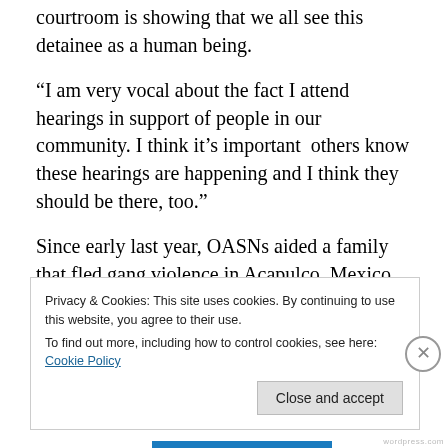courtroom is showing that we all see this detainee as a human being.
“I am very vocal about the fact I attend hearings in support of people in our community. I think it’s important  others know these hearings are happening and I think they should be there, too.”
Since early last year, OASNs aided a family that fled gang violence in Acapulco, Mexico and sought asylum in America. The family was detained and separated. The father, Carlos. ended up in a Georgia detention center. The mother, Sofia, and her children were released to join her sister in
Privacy & Cookies: This site uses cookies. By continuing to use this website, you agree to their use.
To find out more, including how to control cookies, see here: Cookie Policy